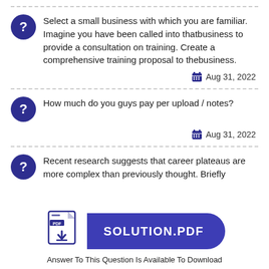Select a small business with which you are familiar. Imagine you have been called into thatbusiness to provide a consultation on training. Create a comprehensive training proposal to thebusiness.
Aug 31, 2022
How much do you guys pay per upload / notes?
Aug 31, 2022
Recent research suggests that career plateaus are more complex than previously thought. Briefly
[Figure (illustration): SOLUTION.PDF button with PDF icon and download arrow]
Answer To This Question Is Available To Download